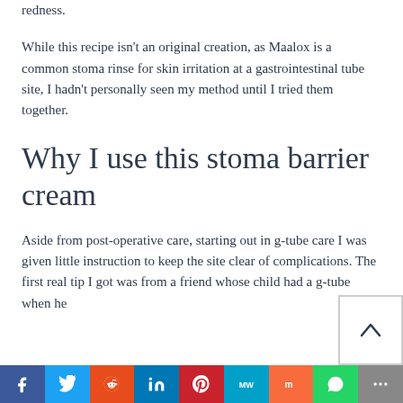redness.
While this recipe isn't an original creation, as Maalox is a common stoma rinse for skin irritation at a gastrointestinal tube site, I hadn't personally seen my method until I tried them together.
Why I use this stoma barrier cream
Aside from post-operative care, starting out in g-tube care I was given little instruction to keep the site clear of complications. The first real tip I got was from a friend whose child had a g-tube when he